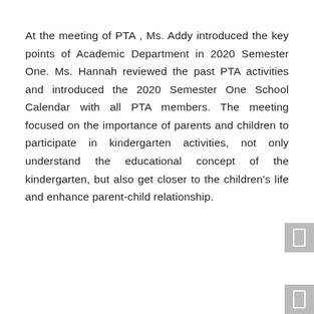At the meeting of PTA , Ms. Addy introduced the key points of Academic Department in 2020 Semester One. Ms. Hannah reviewed the past PTA activities and introduced the 2020 Semester One School Calendar with all PTA members. The meeting focused on the importance of parents and children to participate in kindergarten activities, not only understand the educational concept of the kindergarten, but also get closer to the children's life and enhance parent-child relationship.